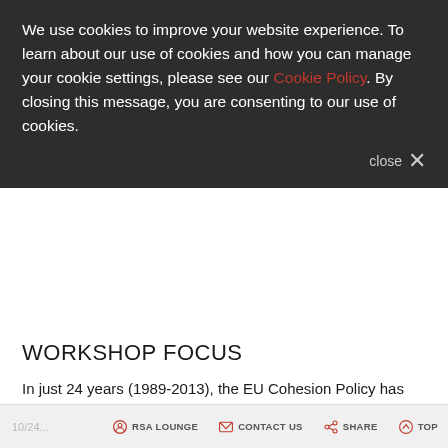We use cookies to improve your website experience. To learn about our use of cookies and how you can manage your cookie settings, please see our Cookie Policy. By closing this message, you are consenting to our use of cookies.
WORKSHOP FOCUS
In just 24 years (1989-2013), the EU Cohesion Policy has shifted its main strategic intervention goals several times. In short, while in earlier times a stronger focus was put on (i) improving human capital; (ii) supporting companies; and (iii) building and modernizing physical
RSA LOUNGE   CONTACT US   SHARE   TOP